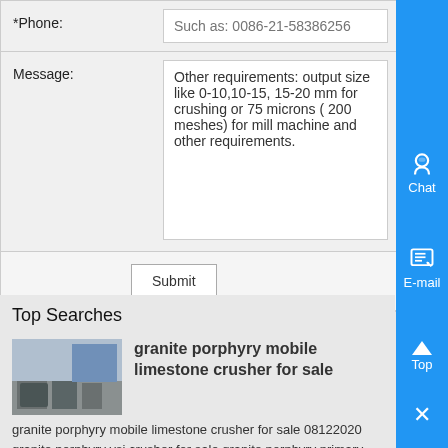| *Phone: | Such as: 0086-21-58386256 |
| Message: | Other requirements: output size like 0-10,10-15, 15-20 mm for crushing or 75 microns ( 200 meshes) for mill machine and other requirements. |
Submit
Top Searches
granite porphyry mobile limestone crusher for sale
granite porphyry mobile limestone crusher for sale 08122020 granite porphyry vsi crusher for sale granite porphyry primary mobile crusher manufacturer calcite mining crushers Impact Crusher We have crusher mills, rock crusher, jaw crushers, cone crusher, stone crushers, grind